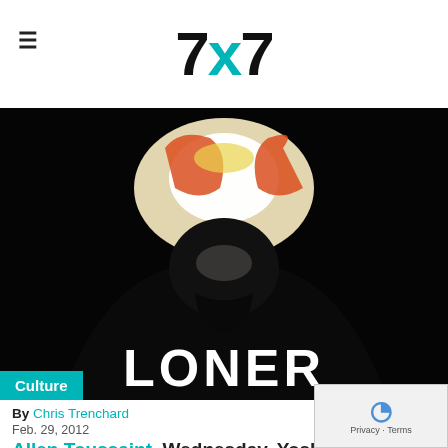7x7
[Figure (photo): Dark album art photo showing a figure in black with the word LONER in white bold text at the bottom, with orange/yellow highlights and light glow in the upper center]
Culture
By Chris Trenchard
Feb. 29, 2012
Allen Toussaint, Wednesday, Yoshi's (Oakland)
Even if you have never heard of jazz legend Allen Toussaint, you have heard Allen Toussaint. Let down the list: there's the ambitious "Southern N which you might know better as a Glen Campbell